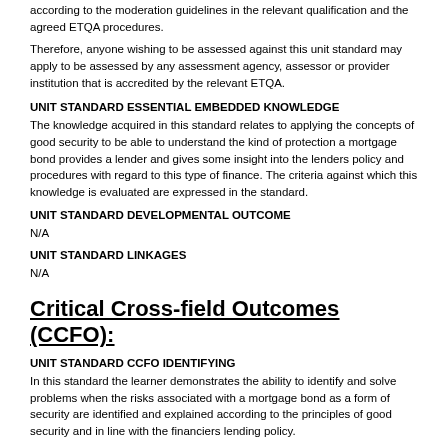according to the moderation guidelines in the relevant qualification and the agreed ETQA procedures.
Therefore, anyone wishing to be assessed against this unit standard may apply to be assessed by any assessment agency, assessor or provider institution that is accredited by the relevant ETQA.
UNIT STANDARD ESSENTIAL EMBEDDED KNOWLEDGE
The knowledge acquired in this standard relates to applying the concepts of good security to be able to understand the kind of protection a mortgage bond provides a lender and gives some insight into the lenders policy and procedures with regard to this type of finance. The criteria against which this knowledge is evaluated are expressed in the standard.
UNIT STANDARD DEVELOPMENTAL OUTCOME
N/A
UNIT STANDARD LINKAGES
N/A
Critical Cross-field Outcomes (CCFO):
UNIT STANDARD CCFO IDENTIFYING
In this standard the learner demonstrates the ability to identify and solve problems when the risks associated with a mortgage bond as a form of security are identified and explained according to the principles of good security and in line with the financiers lending policy.